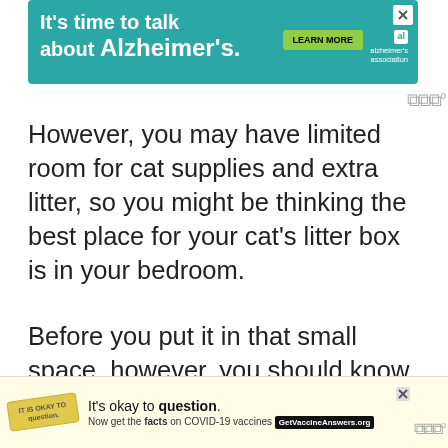[Figure (other): Advertisement banner: teal background, text 'It's time to talk about Alzheimer's.' with a green 'LEARN MORE' button and Alzheimer's Association logo. Close X button in top-right corner.]
However, you may have limited room for cat supplies and extra litter, so you might be thinking the best place for your cat's litter box is in your bedroom.
Before you put it in that small space, however, you should know that isn't a good idea. Dirty cat litter is a health risk
Table of Contents
Dangers Of A Litter Box In Bedrooms
[Figure (other): Bottom advertisement banner: yellow background, stamp graphic reading 'IT IS OKAY TO question.', text 'It's okay to question. Now get the facts on COVID-19 vaccines', GetVaccineAnswers.org button, and close X button.]